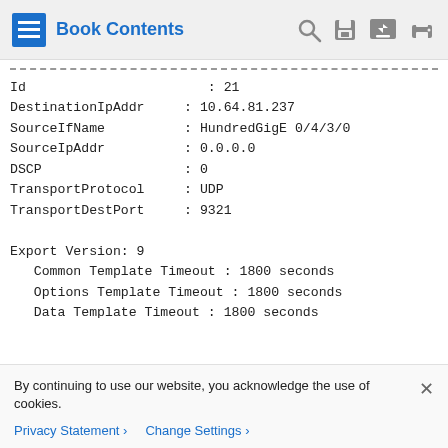Book Contents
Id                          : 21
DestinationIpAddr     : 10.64.81.237
SourceIfName          : HundredGigE 0/4/3/0
SourceIpAddr          : 0.0.0.0
DSCP                  : 0
TransportProtocol     : UDP
TransportDestPort     : 9321

Export Version: 9
   Common Template Timeout : 1800 seconds
   Options Template Timeout : 1800 seconds
   Data Template Timeout : 1800 seconds
   Interface-Table Export Timeout : 0 seconds
   Sampler-Table Export Timeout : 0 seconds
By continuing to use our website, you acknowledge the use of cookies.
Privacy Statement > Change Settings >